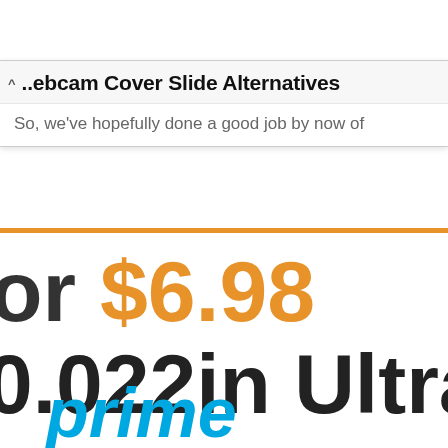^ ...ebcam Cover Slide Alternatives
So, we've hopefully done a good job by now of
or $6.98
0.022in Ultra Thin
prime